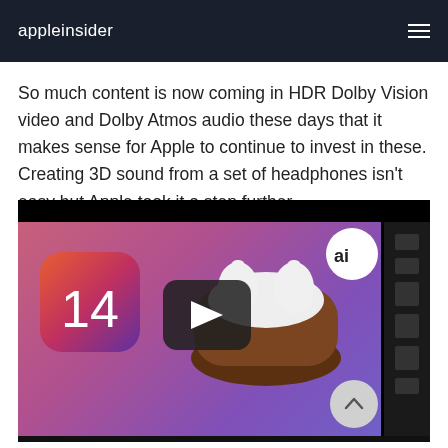appleinsider
So much content is now coming in HDR Dolby Vision video and Dolby Atmos audio these days that it makes sense for Apple to continue to invest in these. Creating 3D sound from a set of headphones isn't easy but Apple took it a step further.
[Figure (screenshot): Embedded video player showing AirPods Pro in a brown leather case with iOS 14 icon, YouTube-style play button overlay, AppleInsider 'ai' badge, and a dark right sidebar with icons. Purple-pink gradient background.]